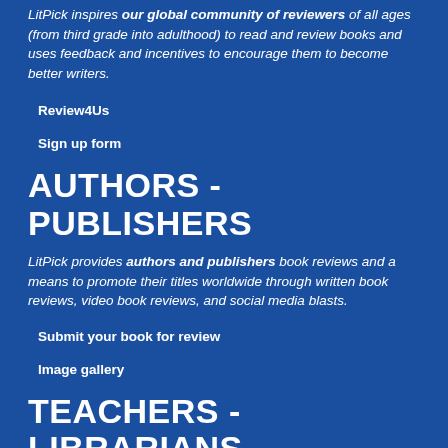LitPick inspires our global community of reviewers of all ages (from third grade into adulthood) to read and review books and uses feedback and incentives to encourage them to become better writers.
Review4Us
Sign up form
AUTHORS - PUBLISHERS
LitPick provides authors and publishers book reviews and a means to promote their titles worldwide through written book reviews, video book reviews, and social media blasts.
Submit your book for review
Image gallery
TEACHERS - LIBRARIANS
LitPick helps teachers and librarians promote reading and writing through book clubs, reading groups, and individualized, personal feedback on written book reviews.